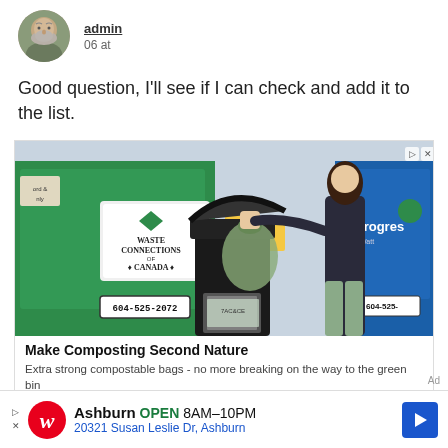[Figure (photo): Circular avatar photo of an older man with grey beard]
admin
06 at
Good question, I'll see if I can check and add it to the list.
[Figure (photo): Advertisement photo showing a woman putting a compostable bag into a black bin, with green Waste Connections of Canada dumpsters in the background. Shows phone number 604-525-2072. Ad reads: Make Composting Second Nature. Extra strong compostable bags - no more breaking on the way to the green bin. OPEN button shown.]
[Figure (photo): Walgreens bottom advertisement banner: Ashburn OPEN 8AM-10PM, 20321 Susan Leslie Dr, Ashburn]